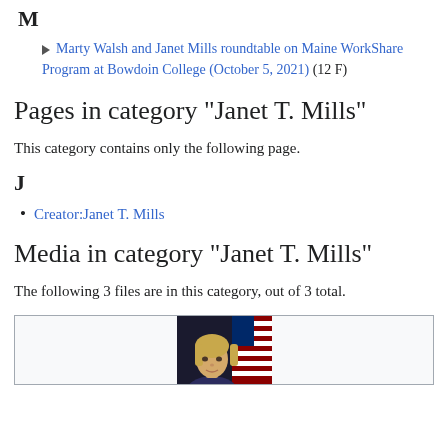M
Marty Walsh and Janet Mills roundtable on Maine WorkShare Program at Bowdoin College (October 5, 2021) (12 F)
Pages in category "Janet T. Mills"
This category contains only the following page.
J
Creator:Janet T. Mills
Media in category "Janet T. Mills"
The following 3 files are in this category, out of 3 total.
[Figure (photo): Photo of Janet T. Mills, a woman with blonde hair, in front of an American flag background]